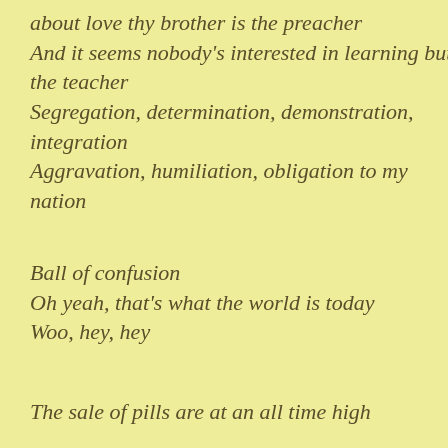about love thy brother is the preacher
And it seems nobody's interested in learning but the teacher
Segregation, determination, demonstration, integration
Aggravation, humiliation, obligation to my nation
Ball of confusion
Oh yeah, that's what the world is today
Woo, hey, hey
The sale of pills are at an all time high